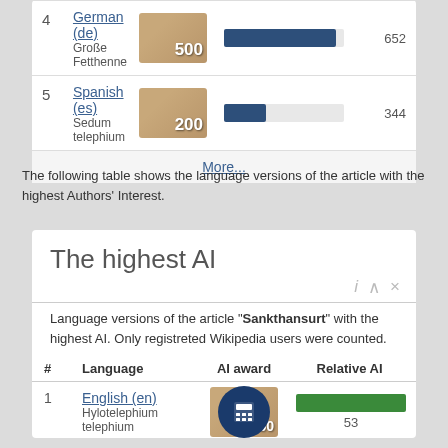| # | Language | AI award | Relative AI |
| --- | --- | --- | --- |
| 4 | German (de)
Große Fetthenne | 500 | 652 |
| 5 | Spanish (es)
Sedum telephium | 200 | 344 |
|  | More... |  |  |
The following table shows the language versions of the article with the highest Authors' Interest.
The highest AI
Language versions of the article "Sankthansurt" with the highest AI. Only registreted Wikipedia users were counted.
| # | Language | AI award | Relative AI |
| --- | --- | --- | --- |
| 1 | English (en)
Hylotelephium telephium | 50 | 53 |
| 2 | German (de)
Große Fetthenne | 30 | 43 |